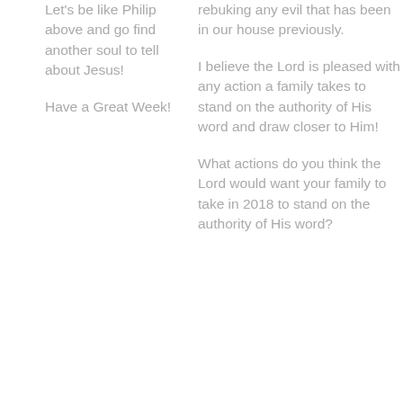Let's be like Philip above and go find another soul to tell about Jesus!
Have a Great Week!
rebuking any evil that has been in our house previously.
I believe the Lord is pleased with any action a family takes to stand on the authority of His word and draw closer to Him!
What actions do you think the Lord would want your family to take in 2018 to stand on the authority of His word?